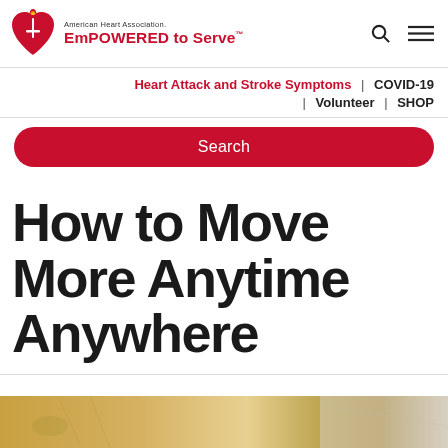[Figure (logo): American Heart Association EmPOWERED to Serve logo with red heart and torch icon]
Heart Attack and Stroke Symptoms | COVID-19 | Volunteer | SHOP
Search
How to Move More Anytime Anywhere
[Figure (photo): Partial photo strip at the bottom of the page, showing a golden/warm-toned image, partially cropped]